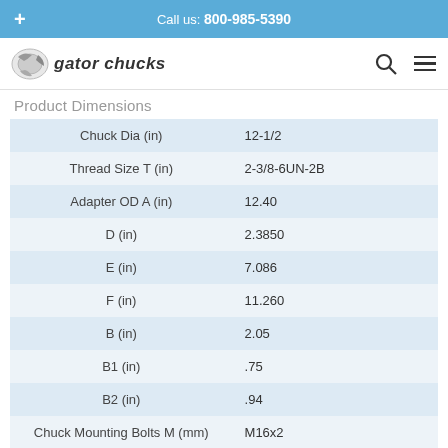Call us: 800-985-5390
[Figure (logo): Gator Chucks logo with stylized eagle/gear icon and italic bold text 'gator chucks']
Product Dimensions
|  |  |
| --- | --- |
| Chuck Dia (in) | 12-1/2 |
| Thread Size T (in) | 2-3/8-6UN-2B |
| Adapter OD A (in) | 12.40 |
| D (in) | 2.3850 |
| E (in) | 7.086 |
| F (in) | 11.260 |
| B (in) | 2.05 |
| B1 (in) | .75 |
| B2 (in) | .94 |
| Chuck Mounting Bolts M (mm) | M16x2 |
| QTY | 3 |